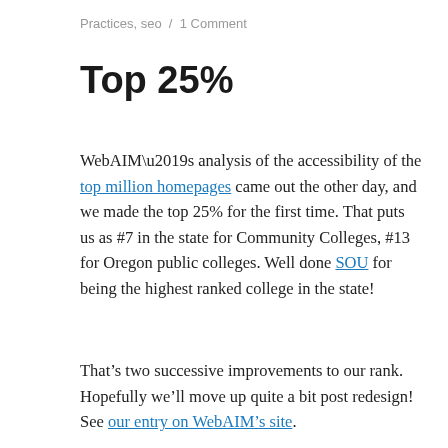Practices, seo / 1 Comment
Top 25%
WebAIM’s analysis of the accessibility of the top million homepages came out the other day, and we made the top 25% for the first time. That puts us as #7 in the state for Community Colleges, #13 for Oregon public colleges. Well done SOU for being the highest ranked college in the state!
That’s two successive improvements to our rank. Hopefully we’ll move up quite a bit post redesign! See our entry on WebAIM’s site.